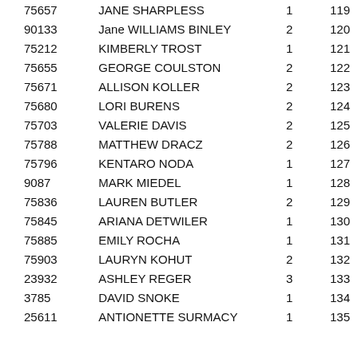| ID | Name | Col3 | Col4 |
| --- | --- | --- | --- |
| 75657 | JANE SHARPLESS | 1 | 119 |
| 90133 | Jane WILLIAMS BINLEY | 2 | 120 |
| 75212 | KIMBERLY TROST | 1 | 121 |
| 75655 | GEORGE COULSTON | 2 | 122 |
| 75671 | ALLISON KOLLER | 2 | 123 |
| 75680 | LORI BURENS | 2 | 124 |
| 75703 | VALERIE DAVIS | 2 | 125 |
| 75788 | MATTHEW DRACZ | 2 | 126 |
| 75796 | KENTARO NODA | 1 | 127 |
| 9087 | MARK MIEDEL | 1 | 128 |
| 75836 | LAUREN BUTLER | 2 | 129 |
| 75845 | ARIANA DETWILER | 1 | 130 |
| 75885 | EMILY ROCHA | 1 | 131 |
| 75903 | LAURYN KOHUT | 2 | 132 |
| 23932 | ASHLEY REGER | 3 | 133 |
| 3785 | DAVID SNOKE | 1 | 134 |
| 25611 | ANTIONETTE SURMACY | 1 | 135 |